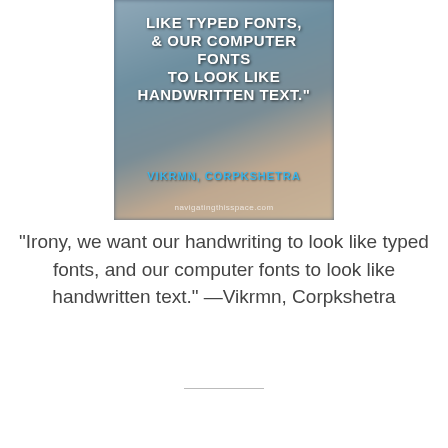[Figure (photo): A meme image showing bold white text on a blurred photo background of hands writing in a notebook. Text reads: 'LIKE TYPED FONTS, & OUR COMPUTER FONTS TO LOOK LIKE HANDWRITTEN TEXT.' with attribution 'VIKRMN, CORPKSHETRA' in blue, and watermark 'navigatingthisspace.com' at bottom.]
“Irony, we want our handwriting to look like typed fonts, and our computer fonts to look like handwritten text.” —Vikrmn, Corpkshetra